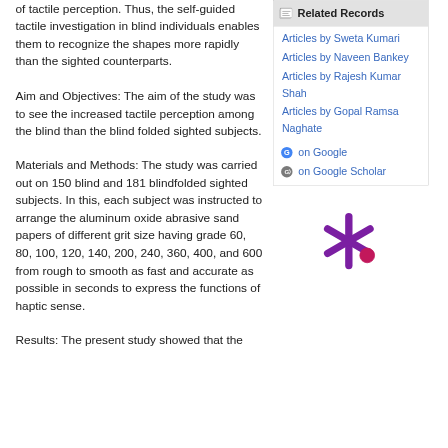of tactile perception. Thus, the self-guided tactile investigation in blind individuals enables them to recognize the shapes more rapidly than the sighted counterparts.
Aim and Objectives: The aim of the study was to see the increased tactile perception among the blind than the blind folded sighted subjects.
Materials and Methods: The study was carried out on 150 blind and 181 blindfolded sighted subjects. In this, each subject was instructed to arrange the aluminum oxide abrasive sand papers of different grit size having grade 60, 80, 100, 120, 140, 200, 240, 360, 400, and 600 from rough to smooth as fast and accurate as possible in seconds to express the functions of haptic sense.
Results: The present study showed that the
Related Records
Articles by Sweta Kumari
Articles by Naveen Bankey
Articles by Rajesh Kumar Shah
Articles by Gopal Ramsa Naghate
on Google
on Google Scholar
[Figure (logo): A purple asterisk/snowflake logo with a purple dot, representing an academic or journal database icon.]